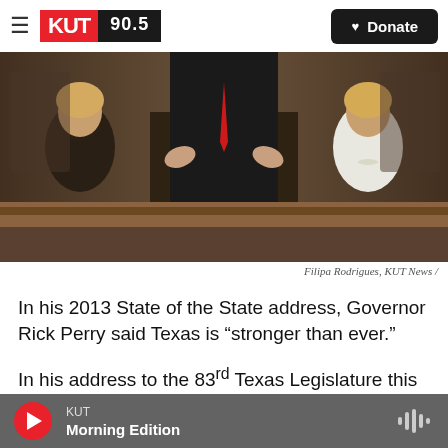KUT 90.5 | Donate
[Figure (photo): Governor Rick Perry speaking at a podium, flanked by two women, at the Texas Legislature. A woman with blonde hair sits on the left, another woman in a white jacket sits on the right. Perry gestures with both hands while wearing a suit and red tie.]
Filipa Rodrigues, KUT News  /
In his 2013 State of the State address, Governor Rick Perry said Texas is “stronger than ever.”
In his address to the 83rd Texas Legislature this morning, Gov. Perry outlined priorities for the
KUT  Morning Edition